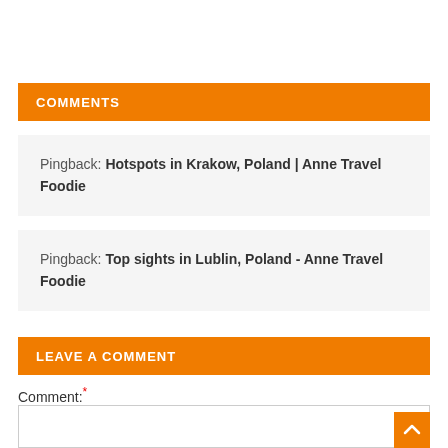COMMENTS
Pingback: Hotspots in Krakow, Poland | Anne Travel Foodie
Pingback: Top sights in Lublin, Poland - Anne Travel Foodie
LEAVE A COMMENT
Comment:*